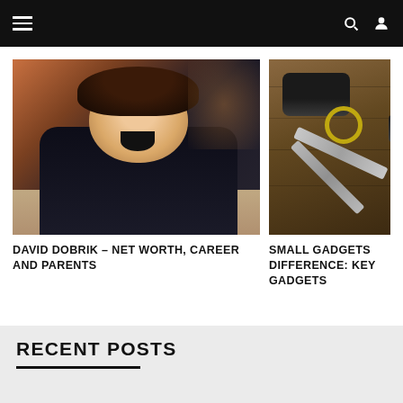Navigation bar with menu, search, and user icons
[Figure (photo): Young man with curly hair laughing, lying on floor holding camera, wearing dark hoodie]
DAVID DOBRIK – NET WORTH, CAREER AND PARENTS
[Figure (photo): Car key fob and metal keys on wooden surface]
SMALL GADGETS DIFFERENCE: KEY GADGETS
RECENT POSTS